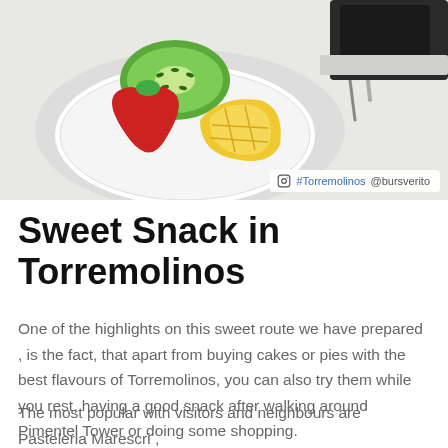[Figure (photo): Overhead view of a fruit tart on a white doily plate with kiwi, strawberry, and pineapple pieces, alongside a chocolate pastry on a plate in the upper right corner, on a light tablecloth. Instagram tag: #Torremolinos @bursverito]
Sweet Snack in Torremolinos
One of the highlights on this sweet route we have prepared , is the fact, that apart from buying cakes or pies with the best flavours of Torremolinos, you can also try them while you rest, having a good snack after walking around Pimentel Tower or doing some shopping.
The most popular with visitors and neighbours are Pasteleria Marescri , Pasteleria Polichinela or Lepanto, with great tradition in